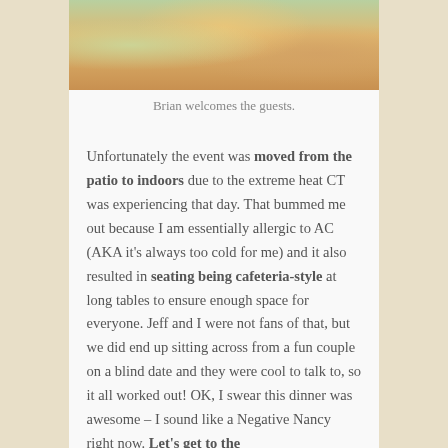[Figure (photo): Photo showing people at a gathering or dining event, partially cropped at top]
Brian welcomes the guests.
Unfortunately the event was moved from the patio to indoors due to the extreme heat CT was experiencing that day. That bummed me out because I am essentially allergic to AC (AKA it's always too cold for me) and it also resulted in seating being cafeteria-style at long tables to ensure enough space for everyone. Jeff and I were not fans of that, but we did end up sitting across from a fun couple on a blind date and they were cool to talk to, so it all worked out! OK, I swear this dinner was awesome – I sound like a Negative Nancy right now. Let's get to the